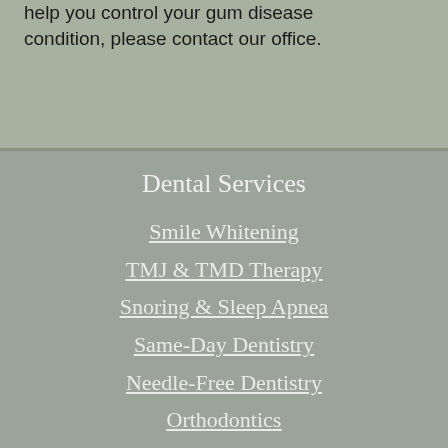help you control your gum disease condition, please contact our office.
Dental Services
Smile Whitening
TMJ & TMD Therapy
Snoring & Sleep Apnea
Same-Day Dentistry
Needle-Free Dentistry
Orthodontics
Implants
Diagnostics